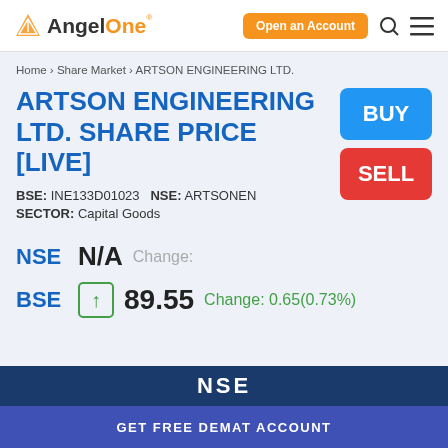AngelOne — Open an Account
Home › Share Market › ARTSON ENGINEERING LTD.
ARTSON ENGINEERING LTD. SHARE PRICE [LIVE]
BSE: INE133D01023   NSE: ARTSONEN   SECTOR: Capital Goods
NSE   N/A Change:
BSE ↑ 89.55 Change: 0.65(0.73%)
NSE
GET FREE DEMAT ACCOUNT